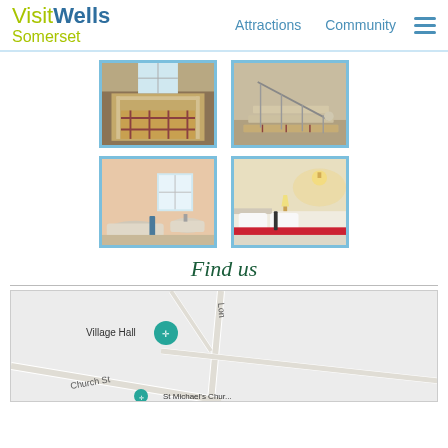Visit Wells Somerset — Attractions | Community
[Figure (photo): Hotel bedroom with iron bed and tartan bedspread]
[Figure (photo): Hotel staircase with tartan carpeting]
[Figure (photo): Bathroom with bathtub and window]
[Figure (photo): Bedroom with red accent pillows on white bed]
Find us
[Figure (map): Street map showing Village Hall, Church St, and St Michaels Church area]